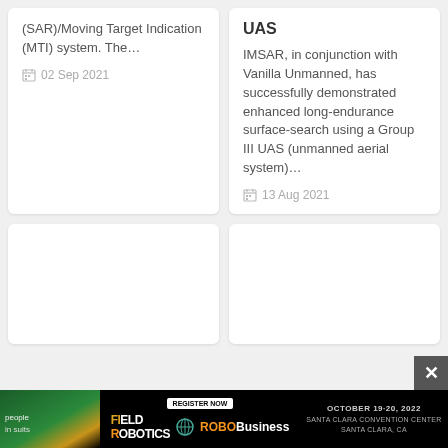(SAR)/Moving Target Indication (MTI) system. The...
02 Sep 2021
UAS
IMSAR, in conjunction with Vanilla Unmanned, has successfully demonstrated enhanced long-endurance surface-search using a Group III UAS (unmanned aerial system)...
13 Aug 2021
[Figure (other): Empty white card placeholder]
[Figure (other): Empty white card placeholder]
[Figure (other): Advertisement banner for Field Robotics and RoboBusiness event, October 19-20 2022, Santa Clara Convention Center, Santa Clara CA]